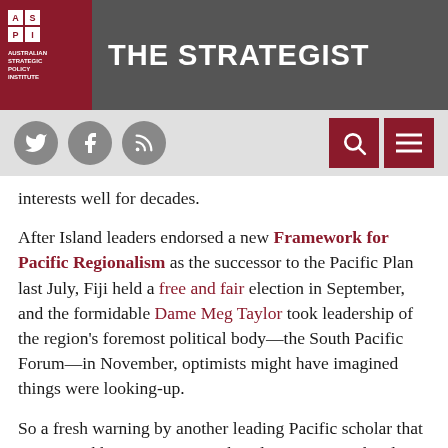THE STRATEGIST - ASPI (Australian Strategic Policy Institute)
interests well for decades.
After Island leaders endorsed a new Framework for Pacific Regionalism as the successor to the Pacific Plan last July, Fiji held a free and fair election in September, and the formidable Dame Meg Taylor took leadership of the region's foremost political body—the South Pacific Forum—in November, optimists might have imagined things were looking-up.
So a fresh warning by another leading Pacific scholar that many neighbouring countries beside Fiji remain deeply dissatisfied with current regional architecture (and our place in it) is a worry. Greg Fry argues that Suva's return to the Forum and the revival of Pacific regionalism are far from assured. He traces the establishment of the Forum in 1971 to Pacific leaders' struggle to gain control of the technocratic South Pacific Commission